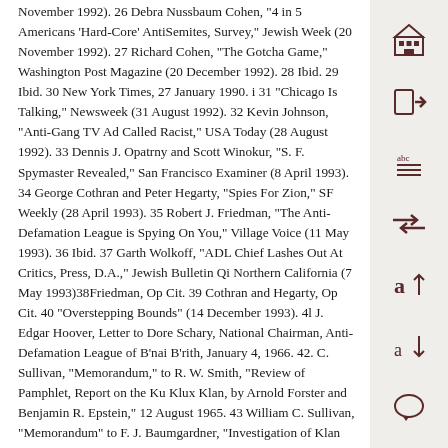November 1992). 26 Debra Nussbaum Cohen, "4 in 5 Americans 'Hard-Core' AntiSemites, Survey," Jewish Week (20 November 1992). 27 Richard Cohen, "The Gotcha Game," Washington Post Magazine (20 December 1992). 28 Ibid. 29 Ibid. 30 New York Times, 27 January 1990. i 31 "Chicago Is Talking," Newsweek (31 August 1992). 32 Kevin Johnson, "Anti-Gang TV Ad Called Racist," USA Today (28 August 1992). 33 Dennis J. Opatrny and Scott Winokur, "S. F. Spymaster Revealed," San Francisco Examiner (8 April 1993). 34 George Cothran and Peter Hegarty, "Spies For Zion," SF Weekly (28 April 1993). 35 Robert J. Friedman, "The Anti-Defamation League is Spying On You," Village Voice (11 May 1993). 36 Ibid. 37 Garth Wolkoff, "ADL Chief Lashes Out At Critics, Press, D.A.," Jewish Bulletin Qi Northern California (7 May 1993)38Friedman, Op Cit. 39 Cothran and Hegarty, Op Cit. 40 "Overstepping Bounds" (14 December 1993). 4l J. Edgar Hoover, Letter to Dore Schary, National Chairman, Anti-Defamation League of B'nai B'rith, January 4, 1966. 42. C. Sullivan, "Memorandum," to R. W. Smith, "Review of Pamphlet, Report on the Ku Klux Klan, by Arnold Forster and Benjamin R. Epstein," 12 August 1965. 43 William C. Sullivan, "Memorandum" to F. J. Baumgardner, "Investigation of Klan Organizations, Racial MattersKlan," 22 September 1966. 44 Ibid. 45 Federal Bureau of Investigation AIRTEL, "Anti-Defamation League of B'Nai B'rith (SDL), Information Concerning Civil Rights Matters," 4 February 1985. 46 Anti-Defamation League, Hate Groups In America: A Record of